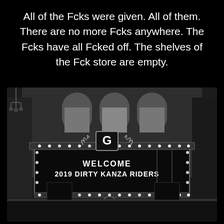All of the Fcks were given. All of them. There are no more Fcks anywhere. The Fcks have all Fcked off. The shelves of the Fck store are empty.
[Figure (photo): Black and white photograph of a person in a cycling helmet smiling in front of a theater marquee sign that reads 'WELCOME 2019 DIRTY KANZA RIDERS'. The theater has a large 'G' logo on the marquee and decorative lights. The building has ornate arched windows visible in the background.]